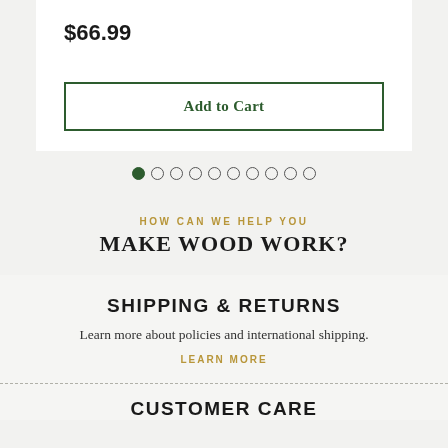$66.99
Add to Cart
[Figure (other): Carousel pagination dots: one filled green dot followed by nine empty circle dots]
HOW CAN WE HELP YOU MAKE WOOD WORK?
SHIPPING & RETURNS
Learn more about policies and international shipping.
LEARN MORE
CUSTOMER CARE